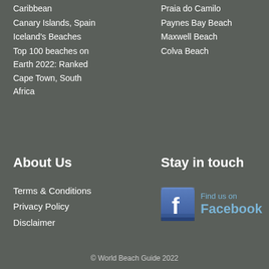Caribbean
Canary Islands, Spain
Iceland's Beaches
Top 100 beaches on Earth 2022: Ranked
Cape Town, South Africa
Praia do Camilo
Paynes Bay Beach
Maxwell Beach
Colva Beach
About Us
Stay in touch
Terms & Conditions
Privacy Policy
Disclaimer
[Figure (logo): Find us on Facebook badge with Facebook 'f' icon and text 'Find us on Facebook' in blue]
© World Beach Guide 2022